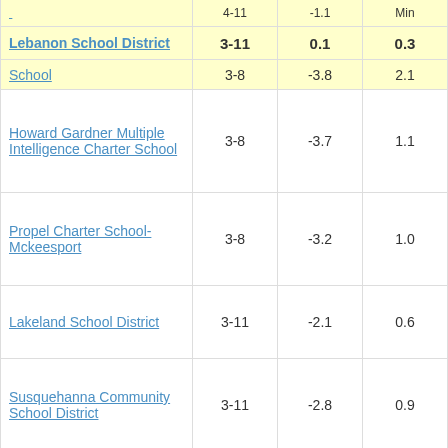| School/District | Grades | Col3 | Col4 | Score |
| --- | --- | --- | --- | --- |
| Lebanon School District | 3-11 | 0.1 | 0.3 | 0.17 |
| School | 3-8 | -3.8 | 2.1 | -3.21 |
| Howard Gardner Multiple Intelligence Charter School | 3-8 | -3.7 | 1.1 | -3.28 |
| Propel Charter School-Mckeesport | 3-8 | -3.2 | 1.0 | -3.30 |
| Lakeland School District | 3-11 | -2.1 | 0.6 | -3.30 |
| Susquehanna Community School District | 3-11 | -2.8 | 0.9 | -3.31 |
| Blackhawk School District | 3-11 | -1.6 | 0.5 | -3.31 |
| Titusville Area School District | 3-11 | -1.7 | 0.5 | -3.31 |